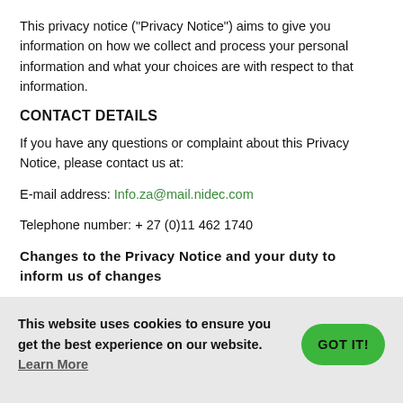This privacy notice (“Privacy Notice”) aims to give you information on how we collect and process your personal information and what your choices are with respect to that information.
CONTACT DETAILS
If you have any questions or complaint about this Privacy Notice, please contact us at:
E-mail address: Info.za@mail.nidec.com
Telephone number: + 27 (0)11 462 1740
Changes to the Privacy Notice and your duty to inform us of changes
This website uses cookies to ensure you get the best experience on our website. Learn More
GOT IT!